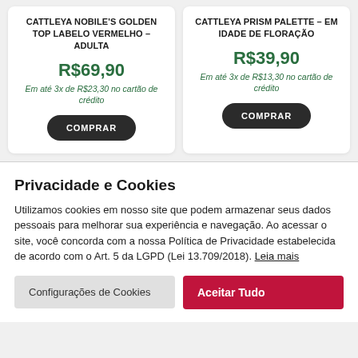CATTLEYA NOBILE'S GOLDEN TOP LABELO VERMELHO – ADULTA
R$69,90
Em até 3x de R$23,30 no cartão de crédito
COMPRAR
CATTLEYA PRISM PALETTE – EM IDADE DE FLORAÇÃO
R$39,90
Em até 3x de R$13,30 no cartão de crédito
COMPRAR
Privacidade e Cookies
Utilizamos cookies em nosso site que podem armazenar seus dados pessoais para melhorar sua experiência e navegação. Ao acessar o site, você concorda com a nossa Política de Privacidade estabelecida de acordo com o Art. 5 da LGPD (Lei 13.709/2018). Leia mais
Configurações de Cookies
Aceitar Tudo